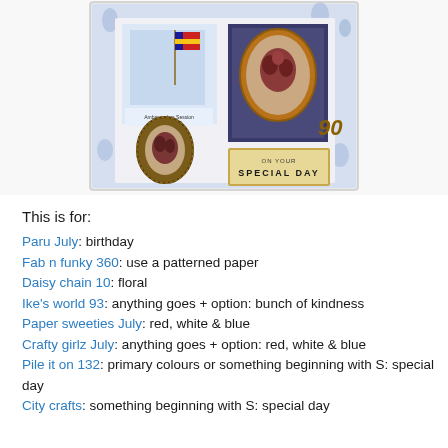[Figure (photo): A decorative handmade card featuring blue floral patterned paper background, a postage stamp with a red floral oval frame showing '90', a small ornate bronze cameo brooch with floral image, and a label reading 'ON YOUR SPECIAL DAY'. Also visible is an 'Ambassadors Session 1980-1981' label card with a flag.]
This is for:
Paru  July: birthday
Fab n funky 360: use a patterned paper
Daisy chain 10: floral
Ike's world 93: anything goes + option: bunch of kindness
Paper sweeties July: red, white & blue
Crafty girlz July: anything goes + option: red, white & blue
Pile it on 132: primary colours or something beginning with S: special day
City crafts: something beginning with S: special day